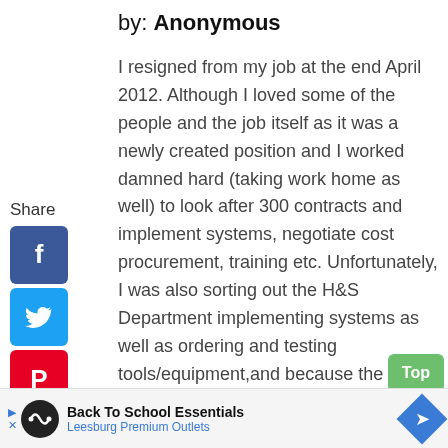by: Anonymous
I resigned from my job at the end April 2012. Although I loved some of the people and the job itself as it was a newly created position and I worked damned hard (taking work home as well) to look after 300 contracts and implement systems, negotiate cost procurement, training etc. Unfortunately, I was also sorting out the H&S Department implementing systems as well as ordering and testing tools/equipment,and because the secretary refused to do her job I had to
[Figure (infographic): Social media share buttons sidebar: Facebook (blue), Twitter (blue), Pinterest (red), Tumblr (dark), Reddit (orange), WhatsApp (green), with Share label and left arrow]
Back To School Essentials — Leesburg Premium Outlets (advertisement banner)